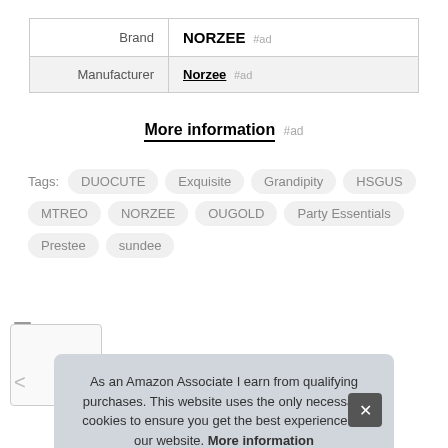| Brand | NORZEE #ad |
| Manufacturer | Norzee #ad |
More information #ad
Tags: DUOCUTE  Exquisite  Grandipity  HSGUS  MTREO  NORZEE  OUGOLD  Party Essentials  Prestee  sundee
As an Amazon Associate I earn from qualifying purchases. This website uses the only necessary cookies to ensure you get the best experience on our website. More information